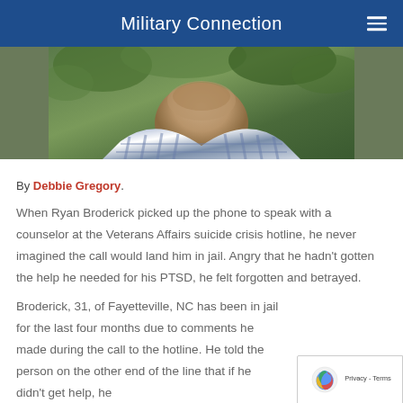Military Connection
[Figure (photo): Close-up photo of a man wearing a blue and white checkered shirt, outdoors with green foliage in background. Shows his neck and lower face/chin.]
By Debbie Gregory.
When Ryan Broderick picked up the phone to speak with a counselor at the Veterans Affairs suicide crisis hotline, he never imagined the call would land him in jail. Angry that he hadn't gotten the help he needed for his PTSD, he felt forgotten and betrayed.
Broderick, 31, of Fayetteville, NC has been in jail for the last four months due to comments he made during the call to the hotline. He told the person on the other end of the line that if he didn't get help, he